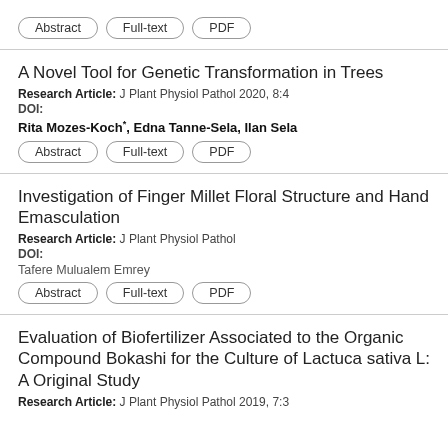Abstract | Full-text | PDF
A Novel Tool for Genetic Transformation in Trees
Research Article: J Plant Physiol Pathol 2020, 8:4
DOI:
Rita Mozes-Koch*, Edna Tanne-Sela, Ilan Sela
Abstract | Full-text | PDF
Investigation of Finger Millet Floral Structure and Hand Emasculation
Research Article: J Plant Physiol Pathol
DOI:
Tafere Mulualem Emrey
Abstract | Full-text | PDF
Evaluation of Biofertilizer Associated to the Organic Compound Bokashi for the Culture of Lactuca sativa L: A Original Study
Research Article: J Plant Physiol Pathol 2019, 7:3